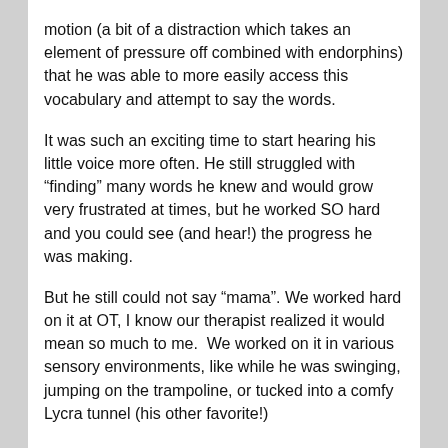motion (a bit of a distraction which takes an element of pressure off combined with endorphins) that he was able to more easily access this vocabulary and attempt to say the words.
It was such an exciting time to start hearing his little voice more often. He still struggled with “finding” many words he knew and would grow very frustrated at times, but he worked SO hard and you could see (and hear!) the progress he was making.
But he still could not say “mama”. We worked hard on it at OT, I know our therapist realized it would mean so much to me.  We worked on it in various sensory environments, like while he was swinging, jumping on the trampoline, or tucked into a comfy Lycra tunnel (his other favorite!)
One afternoon in December, I was early to pick up Wilson from preschool. Usually he was anxiously waiting at the gate with some of the other kids but he was busy playing and didn’t see me.  So I climbed over to go get him and